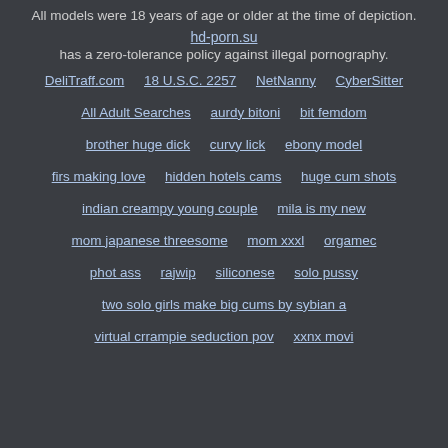All models were 18 years of age or older at the time of depiction.
hd-porn.su
has a zero-tolerance policy against illegal pornography.
DeliTraff.com   18 U.S.C. 2257   NetNanny   CyberSitter
All Adult Searches   aurdy bitoni   bit femdom
brother huge dick   curvy lick   ebony model
firs making love   hidden hotels cams   huge cum shots
indian creampy young couple   mila is my new
mom japanese threesome   mom xxxl   orgamec
phot ass   rajwip   siliconese   solo pussy
two solo girls make big cums by sybian a
virtual crrampie seduction pov   xxnx movi